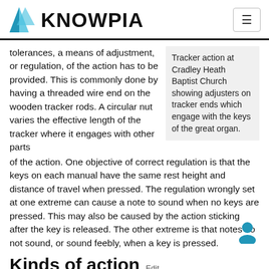KNOWPIA
tolerances, a means of adjustment, or regulation, of the action has to be provided. This is commonly done by having a threaded wire end on the wooden tracker rods. A circular nut varies the effective length of the tracker where it engages with other parts of the action. One objective of correct regulation is that the keys on each manual have the same rest height and distance of travel when pressed. The regulation wrongly set at one extreme can cause a note to sound when no keys are pressed. This may also be caused by the action sticking after the key is released. The other extreme is that notes do not sound, or sound feebly, when a key is pressed.
Tracker action at Cradley Heath Baptist Church showing adjusters on tracker ends which engage with the keys of the great organ.
Kinds of action Edit